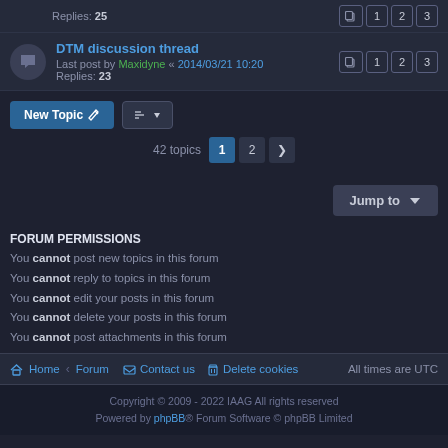Replies: 25
DTM discussion thread
Last post by Maxidyne « 2014/03/21 10:20
Replies: 23
New Topic
42 topics  1  2  >
Jump to
FORUM PERMISSIONS
You cannot post new topics in this forum
You cannot reply to topics in this forum
You cannot edit your posts in this forum
You cannot delete your posts in this forum
You cannot post attachments in this forum
Home · Forum   Contact us   Delete cookies   All times are UTC
Copyright © 2009 - 2022 IAAG All rights reserved
Powered by phpBB® Forum Software © phpBB Limited